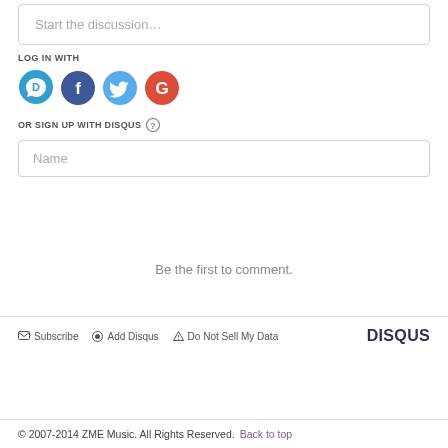Start the discussion…
LOG IN WITH
[Figure (infographic): Social login icons: Disqus (blue speech bubble with D), Facebook (dark blue circle with f), Twitter (light blue circle with bird), Google (red circle with G)]
OR SIGN UP WITH DISQUS ?
Name
Be the first to comment.
Subscribe  Add Disqus  Do Not Sell My Data  DISQUS
© 2007-2014 ZME Music. All Rights Reserved.  Back to top